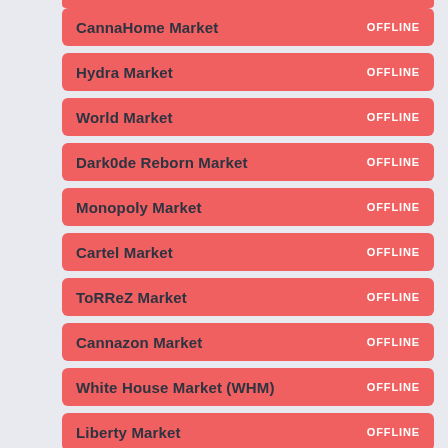CannaHome Market OFFLINE
Hydra Market OFFLINE
World Market OFFLINE
Dark0de Reborn Market OFFLINE
Monopoly Market OFFLINE
Cartel Market OFFLINE
ToRReZ Market OFFLINE
Cannazon Market OFFLINE
White House Market (WHM) OFFLINE
Liberty Market OFFLINE
Namaste! SD OFFLINE